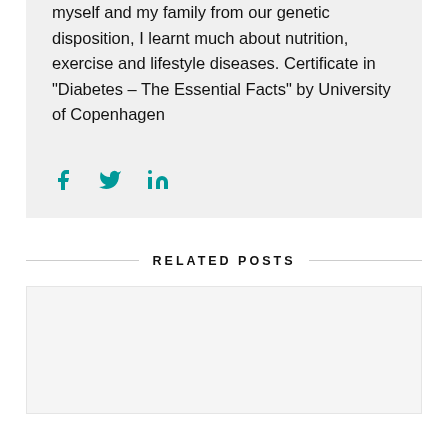myself and my family from our genetic disposition, I learnt much about nutrition, exercise and lifestyle diseases. Certificate in "Diabetes – The Essential Facts" by University of Copenhagen
[Figure (infographic): Social media sharing icons: Facebook (f), Twitter (bird), LinkedIn (in) in teal color]
RELATED POSTS
[Figure (other): Empty related posts placeholder box with light gray background]